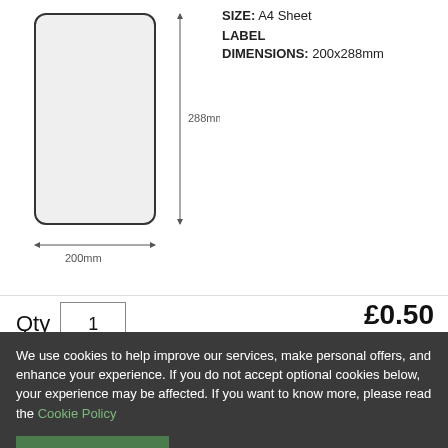[Figure (schematic): Label dimension diagram showing a rounded rectangle label with width 200mm and height 288mm arrows indicating dimensions]
SIZE: A4 Sheet
LABEL
DIMENSIONS: 200x288mm
Qty  1
£0.50
Incl. VAT
Click for discounts
Add to Cart
We use cookies to help improve our services, make personal offers, and enhance your experience. If you do not accept optional cookies below, your experience may be affected. If you want to know more, please read the Cookie Policy
ACCEPT COOKIES   CUSTOM SETTINGS